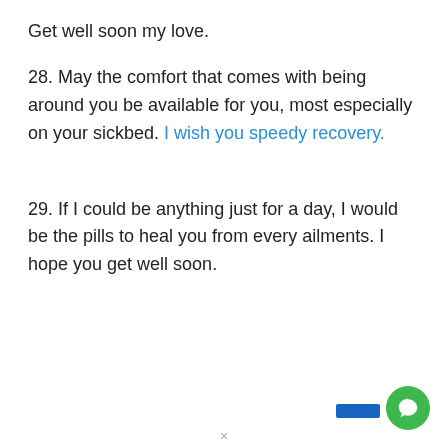Get well soon my love.
28. May the comfort that comes with being around you be available for you, most especially on your sickbed. I wish you speedy recovery.
29. If I could be anything just for a day, I would be the pills to heal you from every ailments. I hope you get well soon.